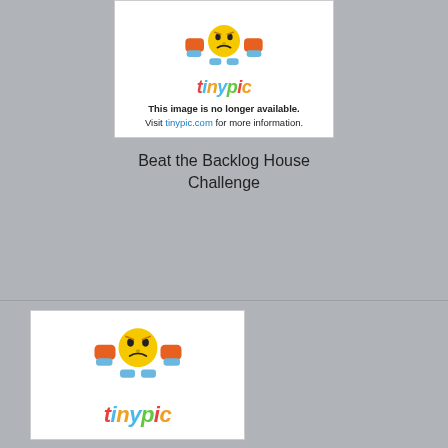[Figure (illustration): Tinypic placeholder image showing a sad/frustrated cartoon emoji character with orange arms and blue feet, with the tinypic logo and text 'This image is no longer available. Visit tinypic.com for more information.']
Beat the Backlog House Challenge
[Figure (illustration): Second Tinypic placeholder image showing a sad/frustrated cartoon emoji character with orange arms and blue feet, with the tinypic logo visible at the bottom.]